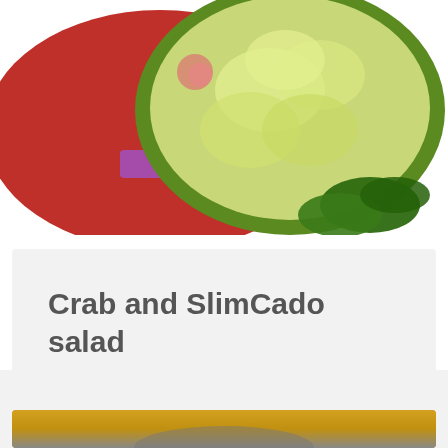[Figure (photo): Top-down photo of a salad in a green bowl with leafy greens, served on a red cloth and purple/pink surface with mint leaves on the side]
Crab and SlimCado salad
When an avocado is ready to be eaten, you've gotta be ready. Ready to enjoy, that is. This is a pantry-grab lunch or dinner. The...
[Figure (photo): Partial photo at bottom showing a yellow/mustard cloth and what appears to be a plate or bowl, with green grass in background]